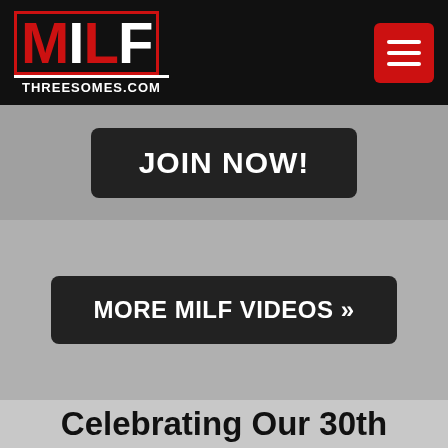MILF THREESOMES.COM
JOIN NOW!
MORE MILF VIDEOS »
Celebrating Our 30th Anniversary